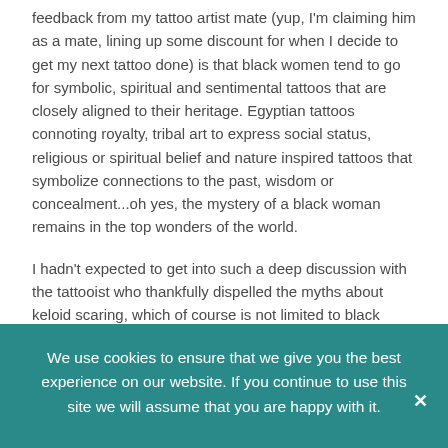feedback from my tattoo artist mate (yup, I'm claiming him as a mate, lining up some discount for when I decide to get my next tattoo done) is that black women tend to go for symbolic, spiritual and sentimental tattoos that are closely aligned to their heritage. Egyptian tattoos connoting royalty, tribal art to express social status, religious or spiritual belief and nature inspired tattoos that symbolize connections to the past, wisdom or concealment...oh yes, the mystery of a black woman remains in the top wonders of the world.
I hadn't expected to get into such a deep discussion with the tattooist who thankfully dispelled the myths about keloid scaring, which of course is not limited to black woman and is not a definite outcome for black women who get tats.
I was amazed by the insight that the tattooist gave pertaining to the western influence on the perception of tattoos. Of course, tattoos have been a significant part of African history, evidenced by one of the oldest
We use cookies to ensure that we give you the best experience on our website. If you continue to use this site we will assume that you are happy with it.